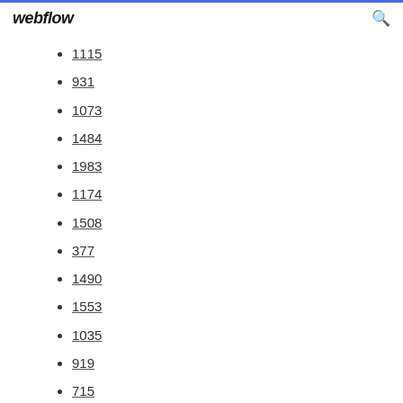webflow
1115
931
1073
1484
1983
1174
1508
377
1490
1553
1035
919
715